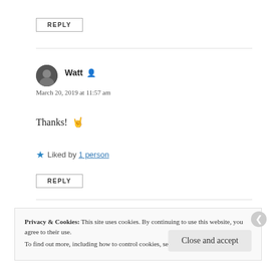REPLY
Watt
March 20, 2019 at 11:57 am
Thanks! 🤘
Liked by 1 person
REPLY
Privacy & Cookies: This site uses cookies. By continuing to use this website, you agree to their use. To find out more, including how to control cookies, see here: Cookie Policy
Close and accept